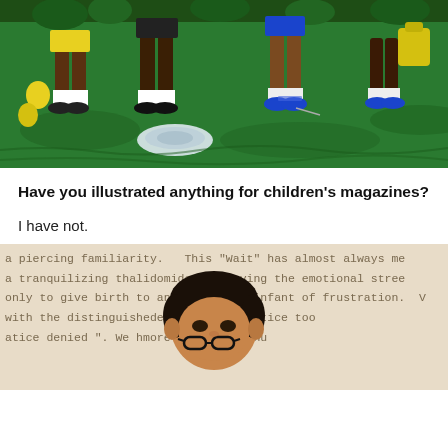[Figure (illustration): Colorful illustration showing the lower halves of children playing outdoors on green grass, wearing various shoes and socks, with yellow and green objects visible]
Have you illustrated anything for children's magazines?
I have not.
[Figure (illustration): Background shows faded typewritten text partially visible, with an illustrated face of a person with dark hair and skin partially overlaid on top. Text reads: 'a piercing familiarity. This "Wait" has almost always me', 'a tranquilizing thalidomide, relieving the emotional stree', 'only to give birth to an ill-formed infant of frustration. V', 'with the distinguished ... erday that "justice too', 'atice denied". We h... more than three hu']